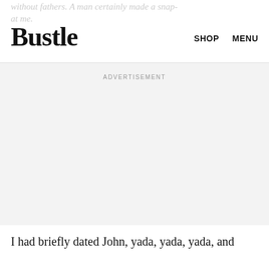Bustle  SHOP  MENU
without fathers. A man certainly made a snap- at me.
ADVERTISEMENT
I had briefly dated John, yada, yada, yada, and